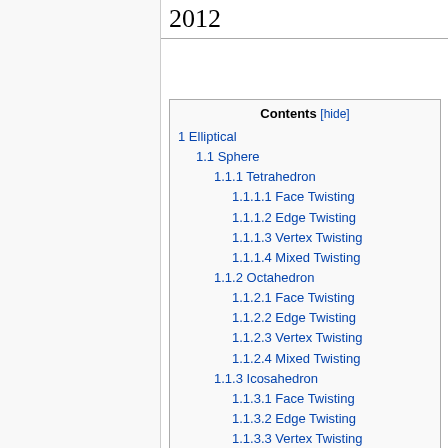2012
Contents [hide]
1 Elliptical
1.1 Sphere
1.1.1 Tetrahedron
1.1.1.1 Face Twisting
1.1.1.2 Edge Twisting
1.1.1.3 Vertex Twisting
1.1.1.4 Mixed Twisting
1.1.2 Octahedron
1.1.2.1 Face Twisting
1.1.2.2 Edge Twisting
1.1.2.3 Vertex Twisting
1.1.2.4 Mixed Twisting
1.1.3 Icosahedron
1.1.3.1 Face Twisting
1.1.3.2 Edge Twisting
1.1.3.3 Vertex Twisting
1.1.3.4 Mixed Twisting